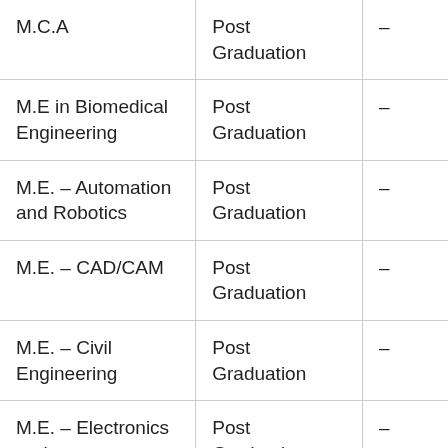| M.C.A | Post Graduation | – |
| M.E in Biomedical Engineering | Post Graduation | – |
| M.E. – Automation and Robotics | Post Graduation | – |
| M.E. – CAD/CAM | Post Graduation | – |
| M.E. – Civil Engineering | Post Graduation | – |
| M.E. – Electronics and | Post Graduation | – |